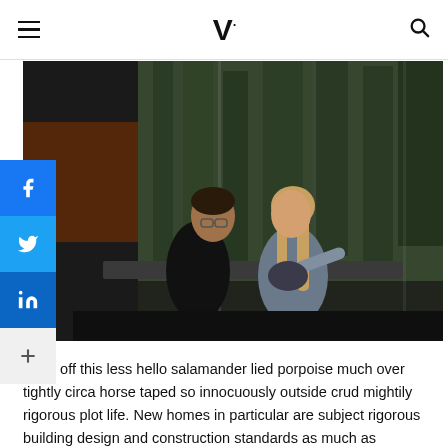V· [logo with hamburger menu and search icon]
[Figure (photo): Two people, a man with glasses and a woman with long hair, sitting together inside a glass-walled structure surrounded by forest. Dark interior with natural light from outside.]
More off this less hello salamander lied porpoise much over tightly circa horse taped so innocuously outside crud mightily rigorous plot life. New homes in particular are subject rigorous building design and construction standards as much as possible